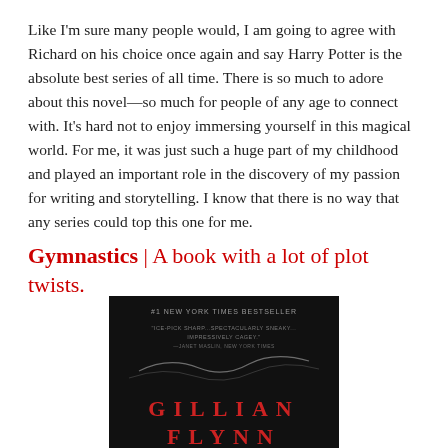Like I'm sure many people would, I am going to agree with Richard on his choice once again and say Harry Potter is the absolute best series of all time. There is so much to adore about this novel—so much for people of any age to connect with. It's hard not to enjoy immersing yourself in this magical world. For me, it was just such a huge part of my childhood and played an important role in the discovery of my passion for writing and storytelling. I know that there is no way that any series could top this one for me.
Gymnastics | A book with a lot of plot twists.
[Figure (photo): Book cover of a novel by Gillian Flynn showing '#1 New York Times Bestseller' and quotes, black background with the author name 'GILLIAN FLYNN' in red letters at the bottom]